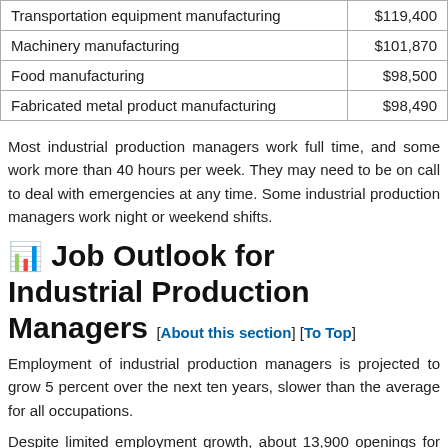| Industry | Salary |
| --- | --- |
| Transportation equipment manufacturing | $119,400 |
| Machinery manufacturing | $101,870 |
| Food manufacturing | $98,500 |
| Fabricated metal product manufacturing | $98,490 |
Most industrial production managers work full time, and some work more than 40 hours per week. They may need to be on call to deal with emergencies at any time. Some industrial production managers work night or weekend shifts.
Job Outlook for Industrial Production Managers [About this section] [To Top]
Employment of industrial production managers is projected to grow 5 percent over the next ten years, slower than the average for all occupations.
Despite limited employment growth, about 13,900 openings for industrial production managers are projected each year, on